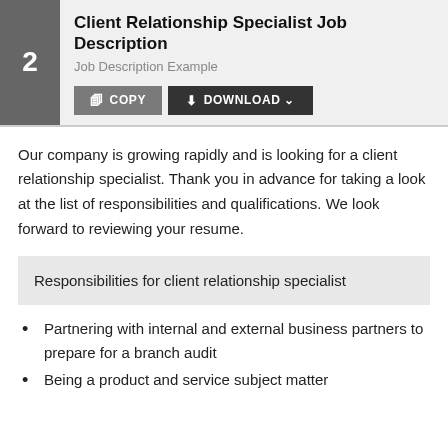Client Relationship Specialist Job Description
Job Description Example
Our company is growing rapidly and is looking for a client relationship specialist. Thank you in advance for taking a look at the list of responsibilities and qualifications. We look forward to reviewing your resume.
Responsibilities for client relationship specialist
Partnering with internal and external business partners to prepare for a branch audit
Being a product and service subject matter